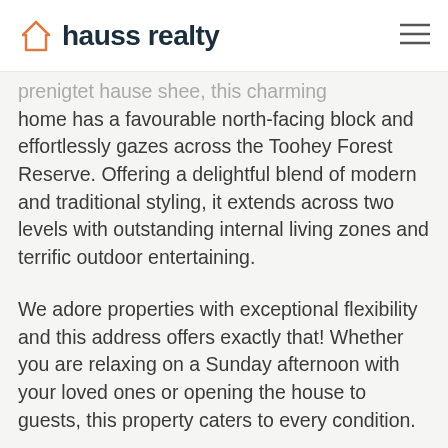hauss realty
...this charming home has a favourable north-facing block and effortlessly gazes across the Toohey Forest Reserve. Offering a delightful blend of modern and traditional styling, it extends across two levels with outstanding internal living zones and terrific outdoor entertaining.
We adore properties with exceptional flexibility and this address offers exactly that! Whether you are relaxing on a Sunday afternoon with your loved ones or opening the house to guests, this property caters to every condition.
The ground level is finished with